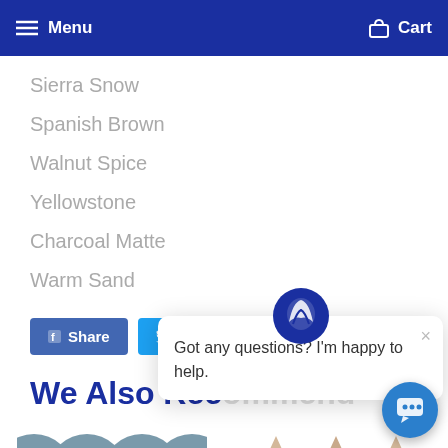Menu   Cart
Sierra Snow
Spanish Brown
Walnut Spice
Yellowstone
Charcoal Matte
Warm Sand
Share   Tweet   Pin it
We Also Recommend
[Figure (photo): Blue-grey fish scale/scallop shaped tiles product thumbnail]
[Figure (photo): Beige/tan star or snowflake shaped tile pieces product thumbnail]
Got any questions? I'm happy to help.